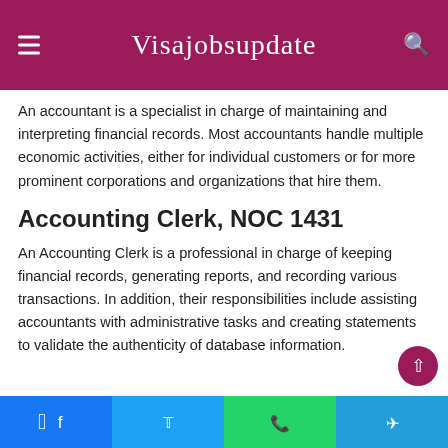Visajobsupdate
An accountant is a specialist in charge of maintaining and interpreting financial records. Most accountants handle multiple economic activities, either for individual customers or for more prominent corporations and organizations that hire them.
Accounting Clerk, NOC 1431
An Accounting Clerk is a professional in charge of keeping financial records, generating reports, and recording various transactions. In addition, their responsibilities include assisting accountants with administrative tasks and creating statements to validate the authenticity of database information.
Facebook | Twitter | WhatsApp | Telegram